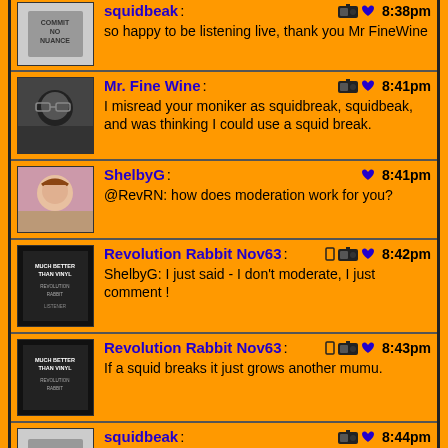squidbeak: so happy to be listening live, thank you Mr FineWine  8:38pm
Mr. Fine Wine: I misread your moniker as squidbreak, squidbeak, and was thinking I could use a squid break.  8:41pm
ShelbyG: @RevRN: how does moderation work for you?  8:41pm
Revolution Rabbit Nov63: ShelbyG: I just said - I don't moderate, I just comment !  8:42pm
Revolution Rabbit Nov63: If a squid breaks it just grows another mumu.  8:43pm
squidbeak: Break on through to the other side Mr Fine Wine U Absolute diamond  8:44pm
chresti: I read squidbreak too.  8:44pm